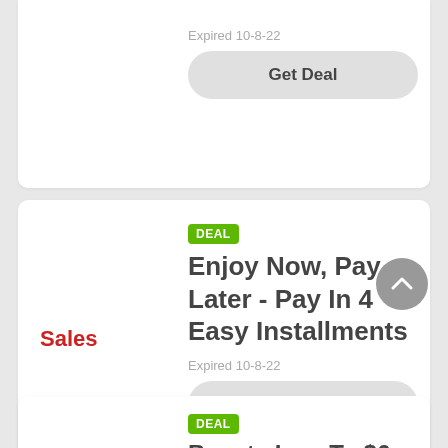Expired 10-8-22
Get Deal
DEAL
Enjoy Now, Pay Later - Pay In 4 Easy Installments
Sales
Expired 10-8-22
Get Deal
DEAL
Beauty Low To $6
$6
Expired 5-7-22
Get Deal